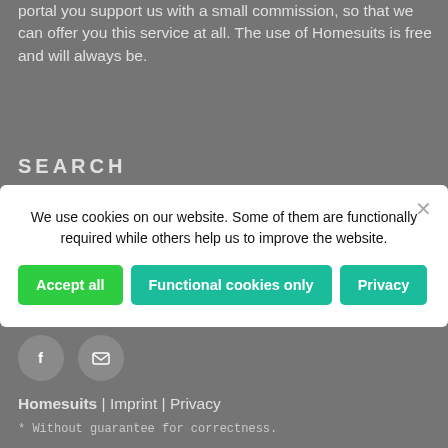portal you support us with a small commission, so that we can offer you this service at all. The use of Homesuits is free and will always be.
SEARCH
[Figure (screenshot): Cookie consent modal with white background containing message 'We use cookies on our website. Some of them are functionally required while others help us to improve the website.' and three buttons: 'Accept all' (green), 'Functional cookies only' (teal), 'Privacy' (teal), plus a close X button.]
[Figure (other): Two grey circular social media icon buttons: Facebook (f) and email (envelope icon)]
Homesuits | Imprint | Privacy
* Without guarantee for correctness.